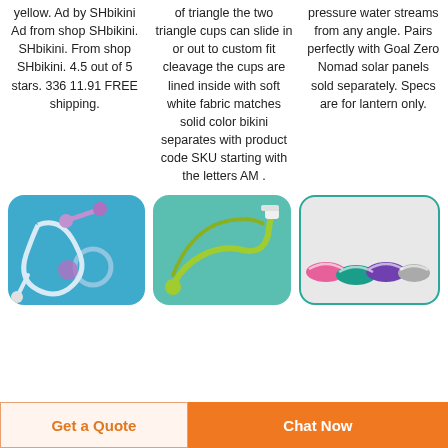yellow. Ad by SHbikini Ad from shop SHbikini. SHbikini. From shop SHbikini. 4.5 out of 5 stars. 336 11.91 FREE shipping.
of triangle the two triangle cups can slide in or out to custom fit cleavage the cups are lined inside with soft white fabric matches solid color bikini separates with product code SKU starting with the letters AM .
pressure water streams from any angle. Pairs perfectly with Goal Zero Nomad solar panels sold separately. Specs are for lantern only.
[Figure (photo): Medical tubing set with purple connectors on blue background]
[Figure (photo): Green medical tubing/catheter set on blue-teal background]
[Figure (photo): Colored mouthguards (pink, teal, purple, gray) on light gray background]